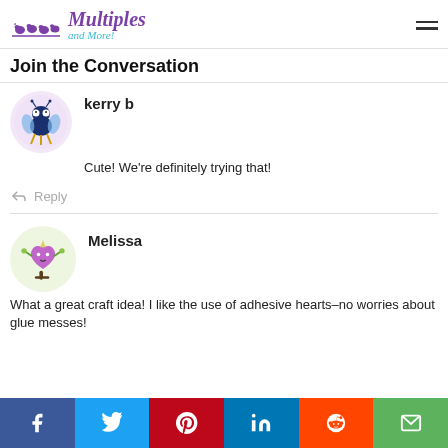Multiples and More! [logo with hamburger menu]
Join the Conversation
kerry b
Cute! We’re definitely trying that!
Reply
Melissa
What a great craft idea! I like the use of adhesive hearts–no worries about glue messes!
Social share bar: Facebook, Twitter, Pinterest, LinkedIn, Reddit, Email